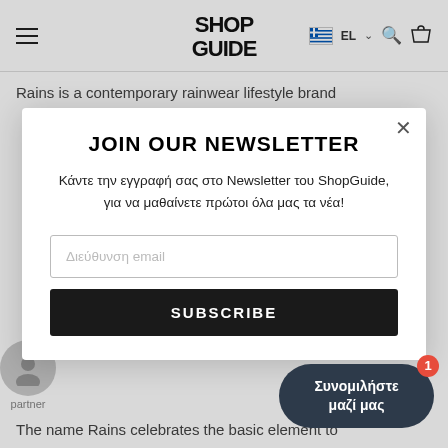[Figure (screenshot): ShopGuide website header with hamburger menu, logo, Greek flag language selector EL, search icon, and bag icon]
Rains is a contemporary rainwear lifestyle brand
JOIN OUR NEWSLETTER
Κάντε την εγγραφή σας στο Newsletter του ShopGuide, για να μαθαίνετε πρώτοι όλα μας τα νέα!
Διεύθυνση email
SUBSCRIBE
The name Rains celebrates the basic element to
Συνομιλήστε μαζί μας